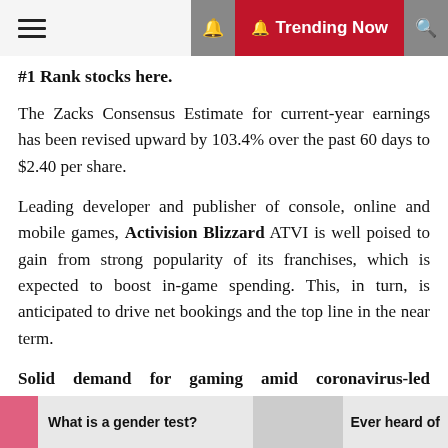Trending Now
#1 Rank stocks here.
The Zacks Consensus Estimate for current-year earnings has been revised upward by 103.4% over the past 60 days to $2.40 per share.
Leading developer and publisher of console, online and mobile games, Activision Blizzard ATVI is well poised to gain from strong popularity of its franchises, which is expected to boost in-game spending. This, in turn, is anticipated to drive net bookings and the top line in the near term.
Solid demand for gaming amid coronavirus-led lockdowns and enforcement of shelter-at-home guidelines are key catalysts.
This Zacks Rank #1 company reported that nearly 50
What is a gender test?   Ever heard of